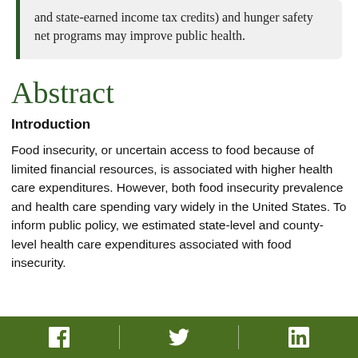and state-earned income tax credits) and hunger safety net programs may improve public health.
Abstract
Introduction
Food insecurity, or uncertain access to food because of limited financial resources, is associated with higher health care expenditures. However, both food insecurity prevalence and health care spending vary widely in the United States. To inform public policy, we estimated state-level and county-level health care expenditures associated with food insecurity.
Facebook, Twitter, LinkedIn social share icons